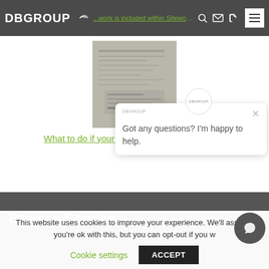DBGROUP — What type of work is included within Siteworks?
[Figure (photo): Document/plans photograph - greyscale image of papers or blueprints]
What to do if your energy supplier goes bust?
Browse Service
Got any questions? I'm happy to help.
This website uses cookies to improve your experience. We'll assume you're ok with this, but you can opt-out if you w
Cookie settings   ACCEPT